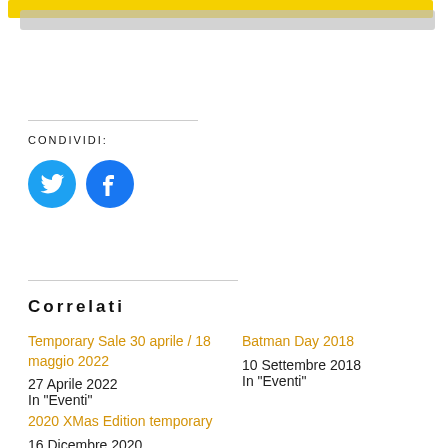[Figure (other): Yellow and gray banner bars at top of page]
CONDIVIDI:
[Figure (other): Twitter and Facebook social share icons (blue circles with white logos)]
Correlati
Temporary Sale 30 aprile / 18 maggio 2022
27 Aprile 2022
In "Eventi"
Batman Day 2018
10 Settembre 2018
In "Eventi"
2020 XMas Edition temporary
16 Dicembre 2020